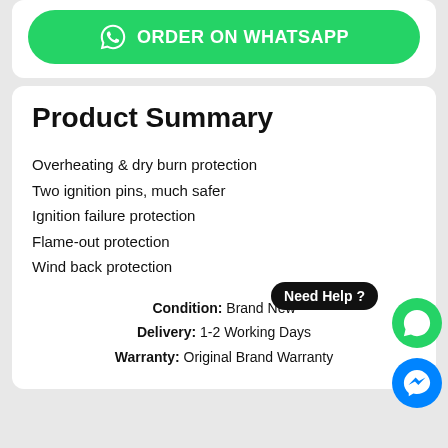[Figure (other): Green WhatsApp Order button with WhatsApp logo icon]
Product Summary
Overheating & dry burn protection
Two ignition pins, much safer
Ignition failure protection
Flame-out protection
Wind back protection
Condition: Brand New
Delivery: 1-2 Working Days
Warranty: Original Brand Warranty
Need Help ?
100% Genuine Product
1 Week Full Refund Policy
Same Day Delivery on Same Pricing